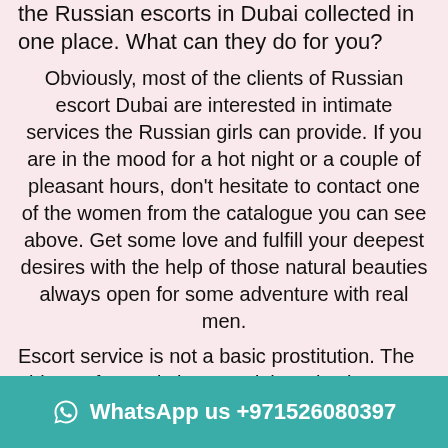the Russian escorts in Dubai collected in one place. What can they do for you?
Obviously, most of the clients of Russian escort Dubai are interested in intimate services the Russian girls can provide. If you are in the mood for a hot night or a couple of pleasant hours, don't hesitate to contact one of the women from the catalogue you can see above. Get some love and fulfill your deepest desires with the help of those natural beauties always open for some adventure with real men.
Escort service is not a basic prostitution. The girls are fun and clever and there is always something to talk about with them. Whether you need to expand your knowledge of Russian language further than “vodka” and “babushka” or need an elegant companion for a night out – It’s always nice to have a pleasant conversation when
WhatsApp us +971526080397